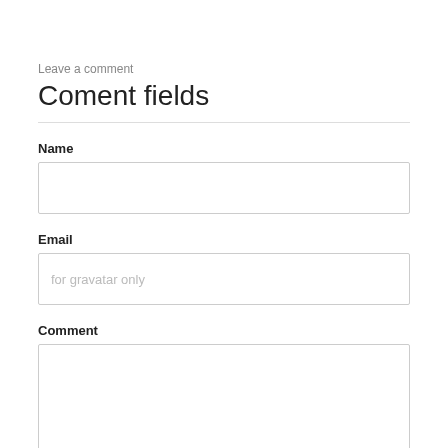Leave a comment
Coment fields
Name
Email
for gravatar only
Comment
This site is protected by reCAPTCHA and the Google